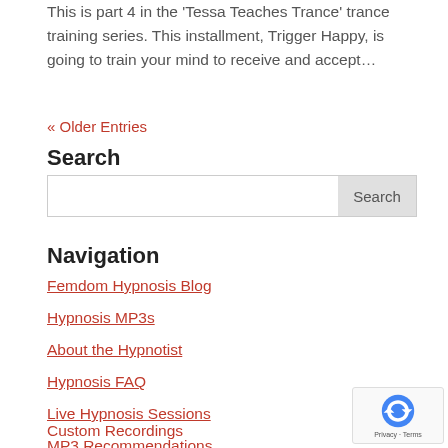This is part 4 in the 'Tessa Teaches Trance' trance training series. This installment, Trigger Happy, is going to train your mind to receive and accept…
« Older Entries
Search
Navigation
Femdom Hypnosis Blog
Hypnosis MP3s
About the Hypnotist
Hypnosis FAQ
Live Hypnosis Sessions
MP3 Recommendations
Custom Recordings